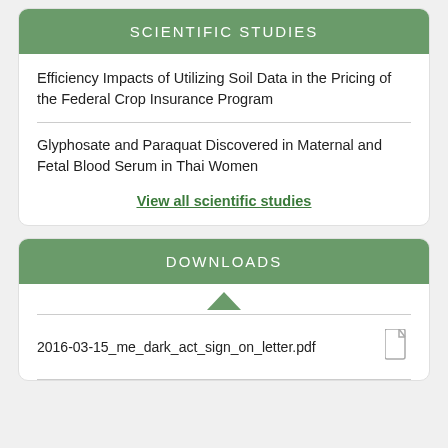SCIENTIFIC STUDIES
Efficiency Impacts of Utilizing Soil Data in the Pricing of the Federal Crop Insurance Program
Glyphosate and Paraquat Discovered in Maternal and Fetal Blood Serum in Thai Women
View all scientific studies
DOWNLOADS
2016-03-15_me_dark_act_sign_on_letter.pdf